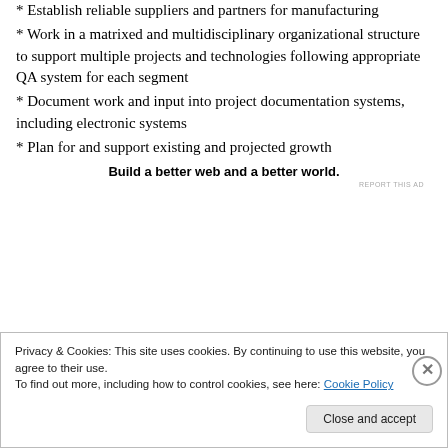* Establish reliable suppliers and partners for manufacturing
* Work in a matrixed and multidisciplinary organizational structure to support multiple projects and technologies following appropriate QA system for each segment
* Document work and input into project documentation systems, including electronic systems
* Plan for and support existing and projected growth
Build a better web and a better world.
REPORT THIS AD
Privacy & Cookies: This site uses cookies. By continuing to use this website, you agree to their use.
To find out more, including how to control cookies, see here: Cookie Policy
Close and accept